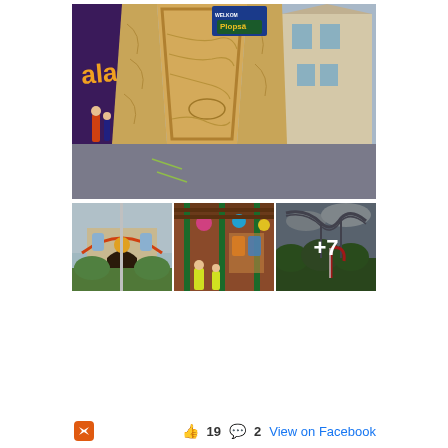[Figure (photo): Large wooden sculptural installation resembling giant wood-grain planks forming a doorway/arch, situated in an amusement park plaza. Background shows a purple themed banner on the left reading 'aland' and European-style buildings on the right. A small blue sign near the top reads 'WELKOM' and 'Plopsä'. People visible walking in background.]
[Figure (photo): Amusement park area showing a themed building facade with gothic arched entrance, decorated with colorful ornamental patterns. Green plants and hedges in foreground.]
[Figure (photo): Interior of an amusement park ride or attraction featuring green metal columns, colorful stained-glass style decorations hanging from ceiling, people visible in hi-vis jackets.]
[Figure (photo): Roller coaster track visible against a grey cloudy sky, with green trees/shrubs below and a candy cane prop in foreground. Overlay text '+7' indicating 7 more photos.]
19   2   View on Facebook